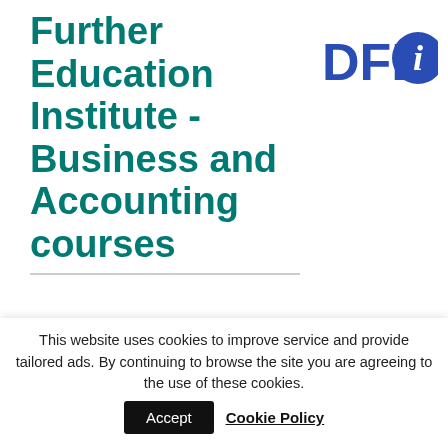Further Education Institute - Business and Accounting courses
[Figure (logo): DFEi logo — bold blue text 'DFE' followed by a blue circle with white italic 'i']
Business and Accounting
Reset
This website uses cookies to improve service and provide tailored ads. By continuing to browse the site you are agreeing to the use of these cookies.
Accept
Cookie Policy